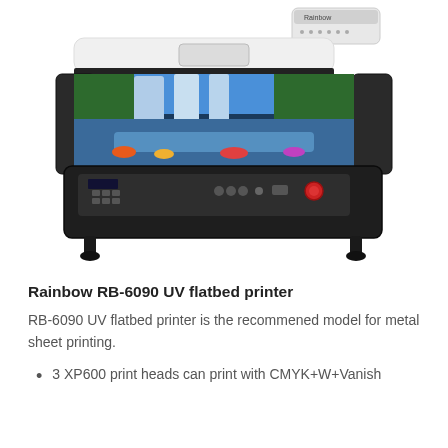[Figure (photo): Rainbow RB-6090 UV flatbed printer shown from front angle. White and black body with a large print bed showing a colorful waterfall landscape print. Control panel on front with buttons and red emergency stop. Rainbow branded ink cartridge unit on top right.]
Rainbow RB-6090 UV flatbed printer
RB-6090 UV flatbed printer is the recommened model for metal sheet printing.
3 XP600 print heads can print with CMYK+W+Vanish